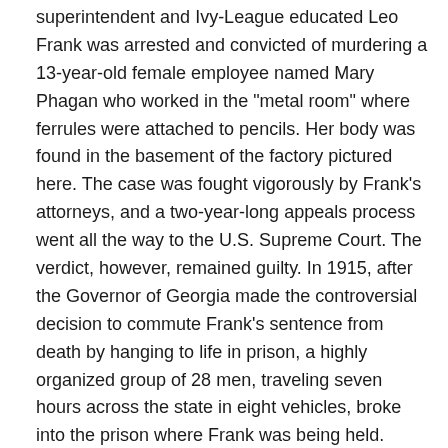superintendent and Ivy-League educated Leo Frank was arrested and convicted of murdering a 13-year-old female employee named Mary Phagan who worked in the "metal room" where ferrules were attached to pencils. Her body was found in the basement of the factory pictured here. The case was fought vigorously by Frank's attorneys, and a two-year-long appeals process went all the way to the U.S. Supreme Court. The verdict, however, remained guilty. In 1915, after the Governor of Georgia made the controversial decision to commute Frank's sentence from death by hanging to life in prison, a highly organized group of 28 men, traveling seven hours across the state in eight vehicles, broke into the prison where Frank was being held. They transported Frank back to Phagan's hometown of Marietta, Georgia, and proceeded to lynch him at a prepared location early that morning. Later that same year, the company put all of its machinery and equipment up for sale.